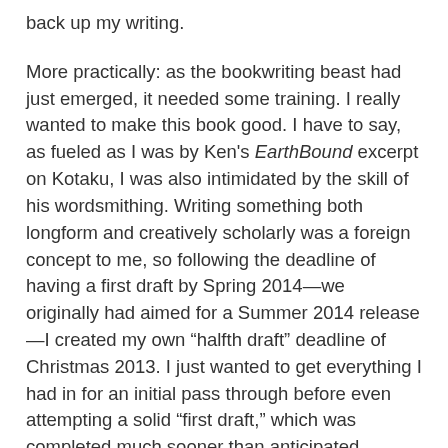back up my writing.
More practically: as the bookwriting beast had just emerged, it needed some training. I really wanted to make this book good. I have to say, as fueled as I was by Ken's EarthBound excerpt on Kotaku, I was also intimidated by the skill of his wordsmithing. Writing something both longform and creatively scholarly was a foreign concept to me, so following the deadline of having a first draft by Spring 2014—we originally had aimed for a Summer 2014 release—I created my own “halfth draft” deadline of Christmas 2013. I just wanted to get everything I had in for an initial pass through before even attempting a solid “first draft,” which was completed much sooner than anticipated. Looking back, these fractional draft numbers were probably confusing—I did call my individual chapter submissions